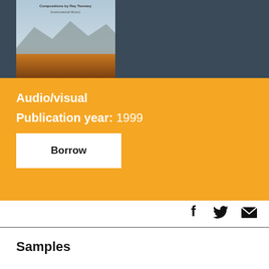[Figure (illustration): Album cover art showing a landscape with mountains and warm golden/orange tones, with text reading 'Compositions by Ray Twomey (Instrumental Music)']
Audio/visual
Publication year: 1999
Borrow
[Figure (illustration): Social media icons: Facebook (f), Twitter (bird), and email (envelope)]
Samples